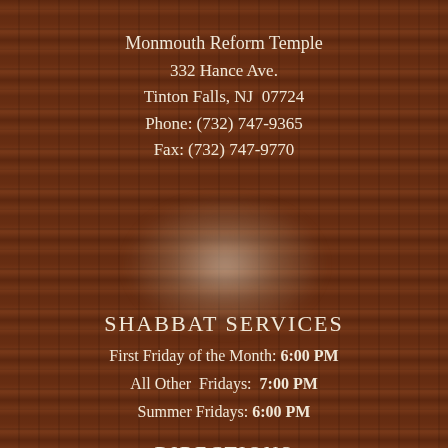Monmouth Reform Temple
332 Hance Ave.
Tinton Falls, NJ  07724
Phone: (732) 747-9365
Fax: (732) 747-9770
SHABBAT SERVICES
First Friday of the Month: 6:00 PM
All Other  Fridays:  7:00 PM
Summer Fridays: 6:00 PM
DIRECTIONS